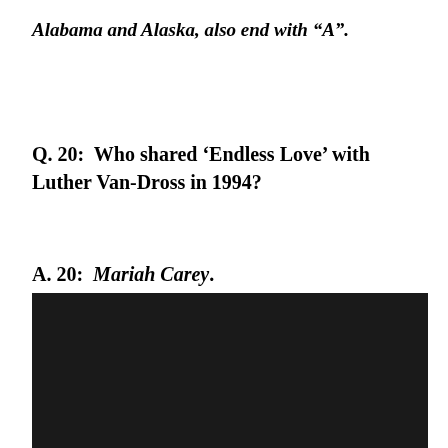Alabama and Alaska, also end with “A”.
Q. 20:  Who shared ‘Endless Love’ with Luther Van-Dross in 1994?
A. 20:  Mariah Carey.
[Figure (photo): Black rectangular image area at the bottom of the page]